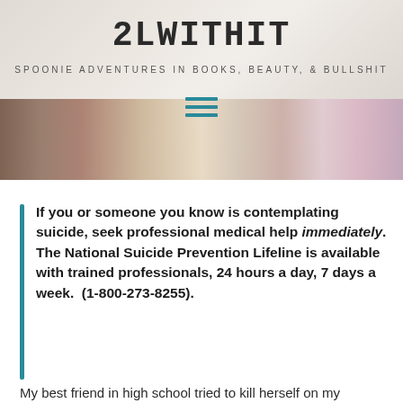[Figure (screenshot): Website header banner with background photo of books and stationery on a wooden surface]
2LWITHIT
SPOONIE ADVENTURES IN BOOKS, BEAUTY, & BULLSHIT
If you or someone you know is contemplating suicide, seek professional medical help immediately. The National Suicide Prevention Lifeline is available with trained professionals, 24 hours a day, 7 days a week.  (1-800-273-8255).
My best friend in high school tried to kill herself on my